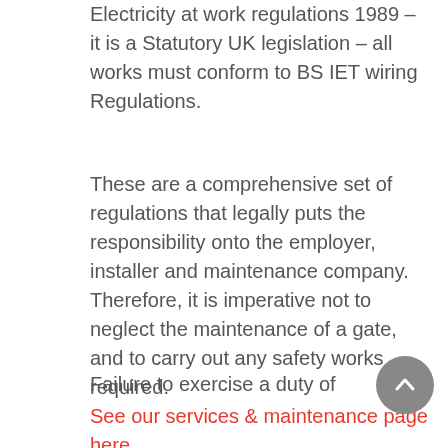Electricity at work regulations 1989 – it is a Statutory UK legislation – all works must conform to BS IET wiring Regulations.
These are a comprehensive set of regulations that legally puts the responsibility onto the employer, installer and maintenance company. Therefore, it is imperative not to neglect the maintenance of a gate, and to carry out any safety works required. See our services & maintenance page here.
Failure to exercise a duty of